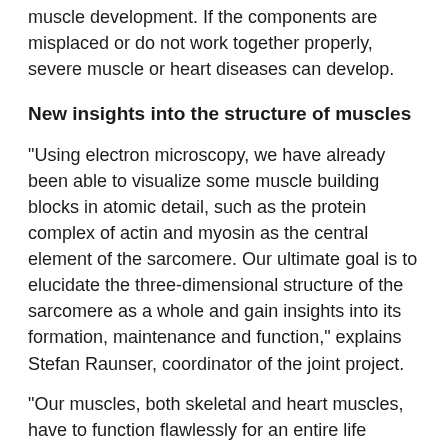muscle development. If the components are misplaced or do not work together properly, severe muscle or heart diseases can develop.
New insights into the structure of muscles
"Using electron microscopy, we have already been able to visualize some muscle building blocks in atomic detail, such as the protein complex of actin and myosin as the central element of the sarcomere. Our ultimate goal is to elucidate the three-dimensional structure of the sarcomere as a whole and gain insights into its formation, maintenance and function," explains Stefan Raunser, coordinator of the joint project.
"Our muscles, both skeletal and heart muscles, have to function flawlessly for an entire life duration and must therefore be regularly serviced. We do not yet know how